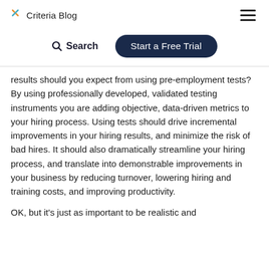Criteria Blog
Search   Start a Free Trial
results should you expect from using pre-employment tests? By using professionally developed, validated testing instruments you are adding objective, data-driven metrics to your hiring process. Using tests should drive incremental improvements in your hiring results, and minimize the risk of bad hires. It should also dramatically streamline your hiring process, and translate into demonstrable improvements in your business by reducing turnover, lowering hiring and training costs, and improving productivity.
OK, but it’s just as important to be realistic and